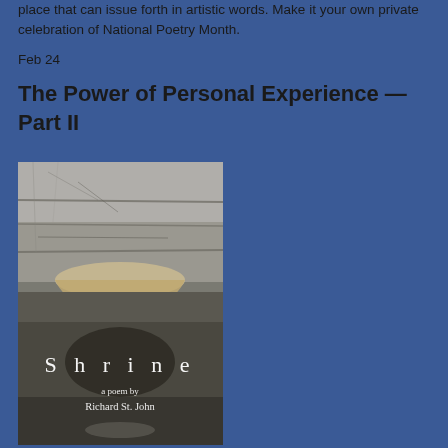place that can issue forth in artistic words. Make it your own private celebration of National Poetry Month.
Feb 24
The Power of Personal Experience — Part II
[Figure (photo): Book cover of 'Shrine, a poem by Richard St. John' showing a stone or concrete textured surface with what appears to be a stone basin or bowl, in muted grey-brown tones. The title 'S h r i n e' appears in white spaced letters, with 'a poem by Richard St. John' below in smaller white text.]